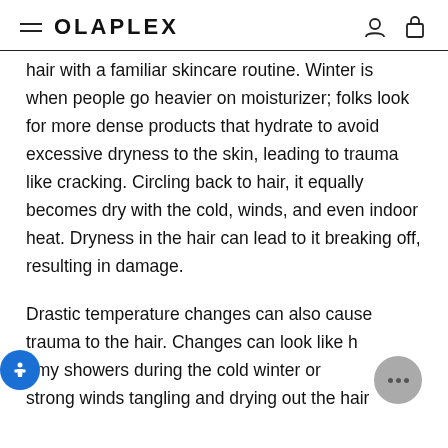OLAPLEX
hair with a familiar skincare routine. Winter is when people go heavier on moisturizer; folks look for more dense products that hydrate to avoid excessive dryness to the skin, leading to trauma like cracking. Circling back to hair, it equally becomes dry with the cold, winds, and even indoor heat. Dryness in the hair can lead to it breaking off, resulting in damage.
Drastic temperature changes can also cause trauma to the hair. Changes can look like hot steamy showers during the cold winter or cold strong winds tangling and drying out the hair